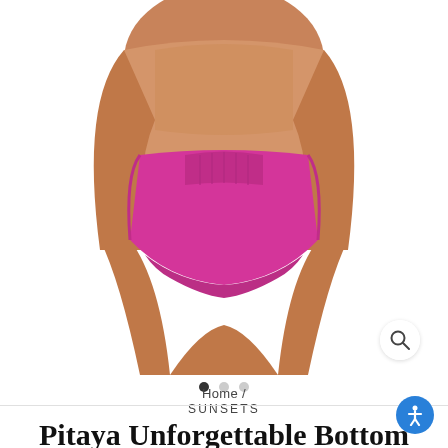[Figure (photo): Model wearing hot pink/magenta bikini bottoms, rear view, cropped at waist and thighs against white background]
Home / SUNSETS
Pitaya Unforgettable Bottom
$56.00
Shipping calculated at checkout.